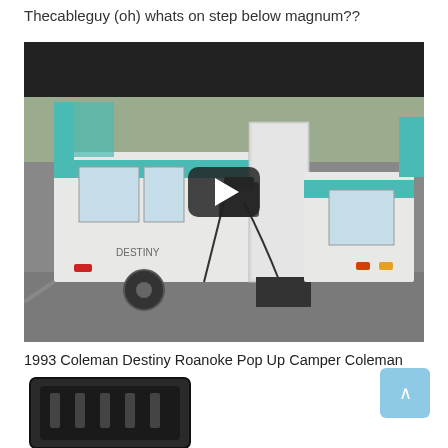Thecableguy (oh) whats on step below magnum??
[Figure (screenshot): Video thumbnail of a 1993 Coleman Destiny Roanoke Pop Up Camper with a play button overlay. Shows a white pop-up camper with teal/turquoise stripes and canvas sections extended, parked under a structure. A black play button is centered on the image.]
1993 Coleman Destiny Roanoke Pop Up Camper Coleman Pop Up Campers Coleman
[Figure (photo): Partial image of a dark/black electronic or mechanical component at the bottom of the page.]